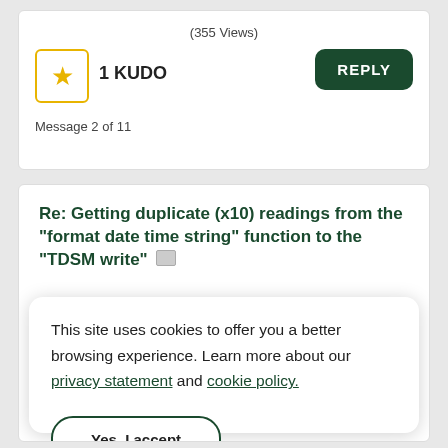(355 Views)
1 KUDO
REPLY
Message 2 of 11
Re: Getting duplicate (x10) readings from the "format date time string" function to the "TDSM write"
This site uses cookies to offer you a better browsing experience. Learn more about our privacy statement and cookie policy.
Yes, I accept